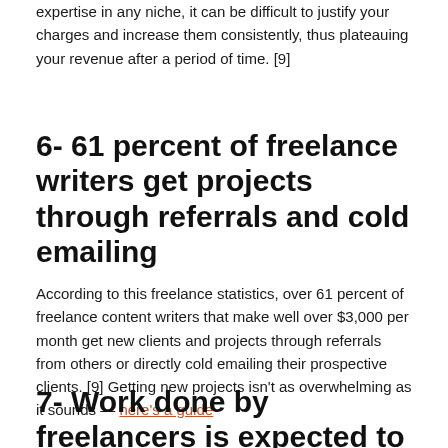expertise in any niche, it can be difficult to justify your charges and increase them consistently, thus plateauing your revenue after a period of time. [9]
6- 61 percent of freelance writers get projects through referrals and cold emailing
According to this freelance statistics, over 61 percent of freelance content writers that make well over $3,000 per month get new clients and projects through referrals from others or directly cold emailing their prospective clients. [9] Getting new projects isn't as overwhelming as it sounds — here's a guide
7- Work done by freelancers is expected to double in the next 10